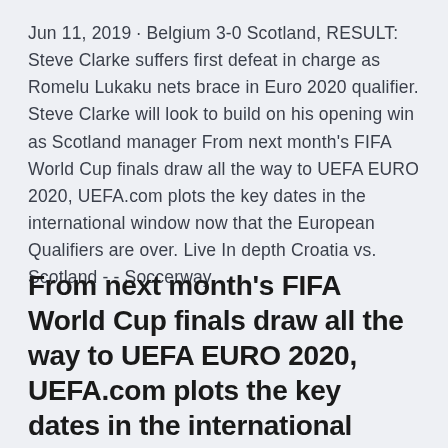Jun 11, 2019 · Belgium 3-0 Scotland, RESULT: Steve Clarke suffers first defeat in charge as Romelu Lukaku nets brace in Euro 2020 qualifier. Steve Clarke will look to build on his opening win as Scotland manager From next month's FIFA World Cup finals draw all the way to UEFA EURO 2020, UEFA.com plots the key dates in the international window now that the European Qualifiers are over. Live In depth Croatia vs. Scotland - - Soccerway.
From next month's FIFA World Cup finals draw all the way to UEFA EURO 2020, UEFA.com plots the key dates in the international